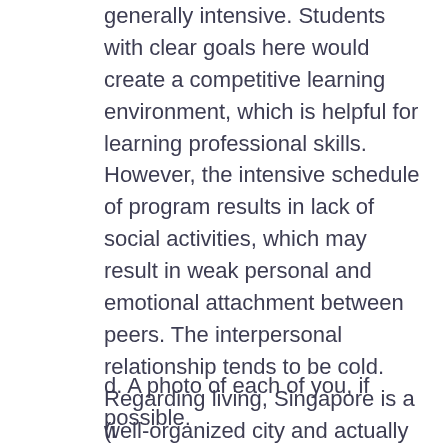generally intensive. Students with clear goals here would create a competitive learning environment, which is helpful for learning professional skills. However, the intensive schedule of program results in lack of social activities, which may result in weak personal and emotional attachment between peers. The interpersonal relationship tends to be cold. Regarding living, Singapore is a well-organized city and actually the living cost here is not as high as their GDP, except accommodation fee. To summarize, Singapore is definitely a good place for studying and working, and if you love city life, Singapore is no doubt a good choice.
d. A photo of each of you, if possible.
(truncated — continues on next page)